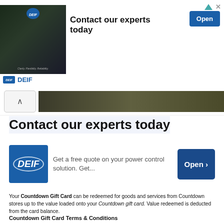[Figure (screenshot): DEIF advertisement banner showing dark industrial image on left, 'Contact our experts today' text in center, and blue 'Open' button on right. DEIF logo and name at bottom left. Navigation arrows and X icons top right.]
[Figure (screenshot): Dark image strip with an up-arrow navigation button on the left]
Contact our experts today
[Figure (screenshot): DEIF advertisement card with blue DEIF logo on left, text 'Get a free quote on your power control solution. Get...' in center, and large blue 'Open >' button on right]
Your Countdown Gift Card can be redeemed for goods and services from Countdown stores up to the value loaded onto your Countdown gift card. Value redeemed is deducted from the card balance.
Countdown Gift Card Terms & Conditions
Full terms: https://www.countdown.co.nz/about-us/our-policies/countdown-egift-card-terms-and-conditions